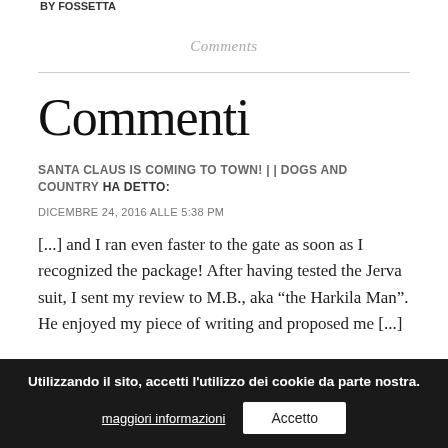BY FOSSETTA
Comments
Commenti
SANTA CLAUS IS COMING TO TOWN! | | DOGS AND COUNTRY HA DETTO:
DICEMBRE 24, 2016 ALLE 5:38 PM
[...] and I ran even faster to the gate as soon as I recognized the package! After having tested the Jerva suit, I sent my review to M.B., aka “the Harkila Man”. He enjoyed my piece of writing and proposed me [...]
Utilizzando il sito, accetti l'utilizzo dei cookie da parte nostra.
maggiori informazioni
Accetto
E ARRIVA S BABBO NATALE!! | DOGS AND COUNTRY HA DETTO:
DICEMBRE 24, 2016 ALLE 5:50 PM